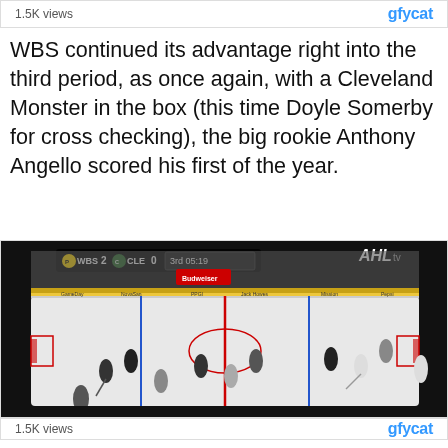[Figure (screenshot): Top video embed bar showing '1.5K views' and 'gfycat' logo, partially visible at top of page]
WBS continued its advantage right into the third period, as once again, with a Cleveland Monster in the box (this time Doyle Somerby for cross checking), the big rookie Anthony Angello scored his first of the year.
[Figure (screenshot): Hockey game screenshot showing WBS 2 vs CLE 0, 3rd period 05:19, AHL TV broadcast of ice hockey game]
Cleveland ended the game with a remarkable 11 minor penalties, and full credit to WBS for converting on...